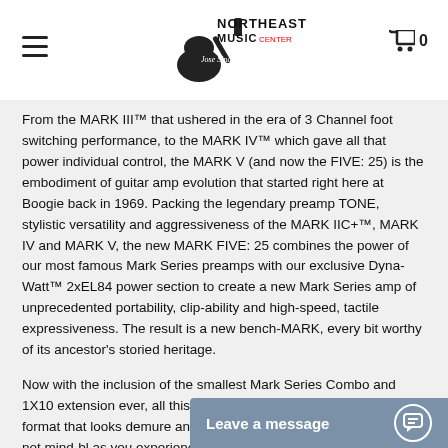Northeast Music Center
From the MARK III™ that ushered in the era of 3 Channel foot switching performance, to the MARK IV™ which gave all that power individual control, the MARK V (and now the FIVE: 25) is the embodiment of guitar amp evolution that started right here at Boogie back in 1969. Packing the legendary preamp TONE, stylistic versatility and aggressiveness of the MARK IIC+™, MARK IV and MARK V, the new MARK FIVE: 25 combines the power of our most famous Mark Series preamps with our exclusive Dyna-Watt™ 2xEL84 power section to create a new Mark Series amp of unprecedented portability, clip-ability and high-speed, tactile expressiveness. The result is a new bench-MARK, every bit worthy of its ancestor's storied heritage.
Now with the inclusion of the smallest Mark Series Combo and 1X10 extension ever, all this historic Tone awaits in a grab and go format that looks demure and jewel-like, yet sounds formidable, if not mind-bl… as you experience the fe…